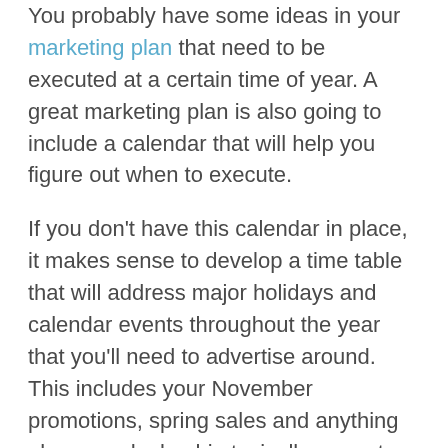You probably have some ideas in your marketing plan that need to be executed at a certain time of year. A great marketing plan is also going to include a calendar that will help you figure out when to execute.
If you don't have this calendar in place, it makes sense to develop a time table that will address major holidays and calendar events throughout the year that you'll need to advertise around. This includes your November promotions, spring sales and anything else your dealership typically promotes.
In addition, you should also have deadlines in place for when you'll need to send automotive direct mailers and other